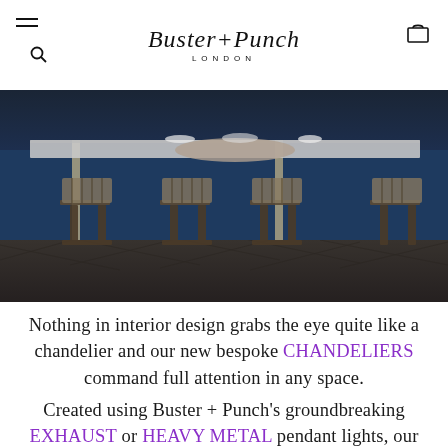Buster + Punch LONDON
[Figure (photo): Interior photo of a bar/restaurant with dark blue leather booth seating, marble bar counter, and rattan chairs on dark herringbone floor tiles]
Nothing in interior design grabs the eye quite like a chandelier and our new bespoke CHANDELIERS command full attention in any space.
Created using Buster + Punch's groundbreaking EXHAUST or HEAVY METAL pendant lights, our new Chandeliers are available in two